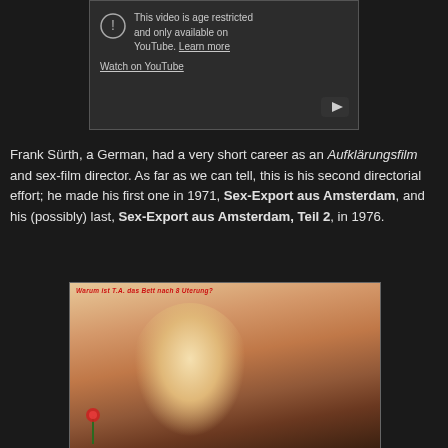[Figure (screenshot): YouTube age-restricted video placeholder showing warning icon, text 'This video is age restricted and only available on YouTube. Learn more', 'Watch on YouTube' link, and YouTube play button]
Frank Sürth, a German, had a very short career as an Aufklärungsfilm and sex-film director. As far as we can tell, this is his second directorial effort; he made his first one in 1971, Sex-Export aus Amsterdam, and his (possibly) last, Sex-Export aus Amsterdam, Teil 2, in 1976.
[Figure (photo): Movie cover image showing two people, with red text overlay at top]